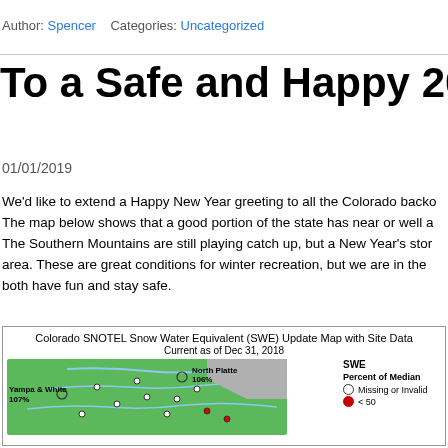Author: Spencer   Categories: Uncategorized
To a Safe and Happy 2019!
01/01/2019
We'd like to extend a Happy New Year greeting to all the Colorado backo The map below shows that a good portion of the state has near or well a The Southern Mountains are still playing catch up, but a New Year's stor area. These are great conditions for winter recreation, but we are in the both have fun and stay safe.
[Figure (map): Colorado SNOTEL Snow Water Equivalent (SWE) Update Map with Site Data, Current as of Dec 31, 2018. Shows SWE Percent of Median across Colorado with data points including North Platte 106%, Yampa & White 107%. Legend shows SWE Percent of Median with circles: Missing or Invalid, <50 (red).]